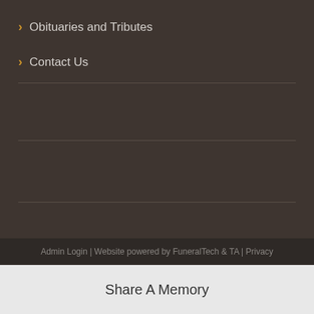Obituaries and Tributes
Contact Us
Admin Login | Website powered by FuneralTech & TA | Privacy
Share A Memory